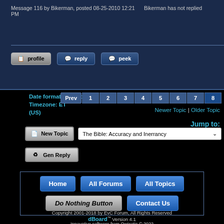Message 116 by Bikerman, posted 08-25-2010 12:21 PM
Bikerman has not replied
[Figure (screenshot): Forum action buttons: profile, reply, peek]
Date format: mm-dd-yyyy
Timezone: ET (US)
[Figure (screenshot): Pagination: Prev 1 2 3 4 5 6 7 8]
Newer Topic | Older Topic
Jump to:
[Figure (screenshot): New Topic button and dropdown: The Bible: Accuracy and Inerrancy]
[Figure (screenshot): Gen Reply button]
[Figure (screenshot): Footer navigation buttons: Home, All Forums, All Topics, Do Nothing Button, Contact Us]
Copyright 2001-2018 by EvC Forum, All Rights Reserved
dBoard™ Version 4.1
Innovative software from Qwixotic © 2022